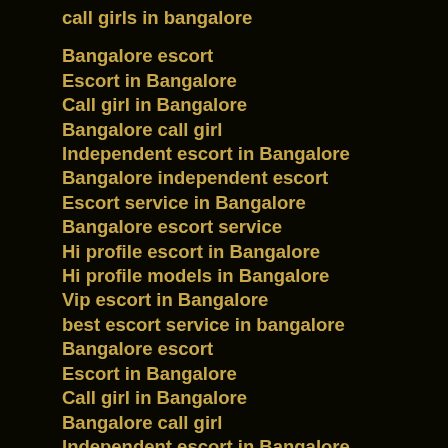call girls in bangalore
Bangalore escort
Escort in Bangalore
Call girl in Bangalore
Bangalore call girl
Independent escort in Bangalore
Bangalore independent escort
Escort service in Bangalore
Bangalore escort service
Hi profile escort in Bangalore
Hi profile models in Bangalore
Vip escort in Bangalore
best escort service in bangalore
Bangalore escort
Escort in Bangalore
Call girl in Bangalore
Bangalore call girl
Independent escort in Bangalore
Bangalore independent escort
Escort service in Bangalore
Bangalore escort service
Hi profile escort in Bangalo...